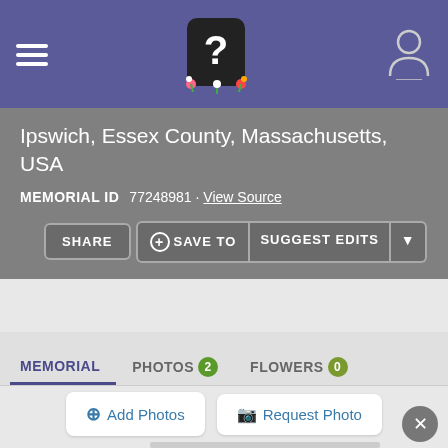Find a Grave memorial page header with navigation
Ipswich, Essex County, Massachusetts, USA
MEMORIAL ID  77248981 · View Source
SHARE  + SAVE TO  SUGGEST EDITS
MEMORIAL  PHOTOS 2  FLOWERS 0
+ Add Photos   Request Photo
[Figure (photo): Gravestone photograph showing a granite headstone in a cemetery with green foliage in the background]